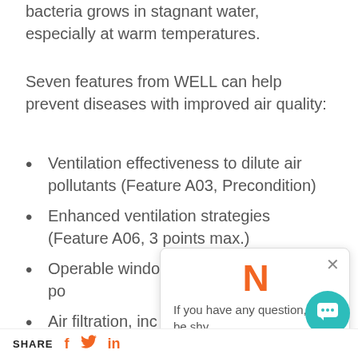bacteria grows in stagnant water, especially at warm temperatures.
Seven features from WELL can help prevent diseases with improved air quality:
Ventilation effectiveness to dilute air pollutants (Feature A03, Precondition)
Enhanced ventilation strategies (Feature A06, 3 points max.)
Operable windows (Feature A07, 2 points max.)
Air filtration, including maintenance (Feature A12, 1 point)
Microbe and mold control, including air disinfection (Feature A14, 2 points max.)